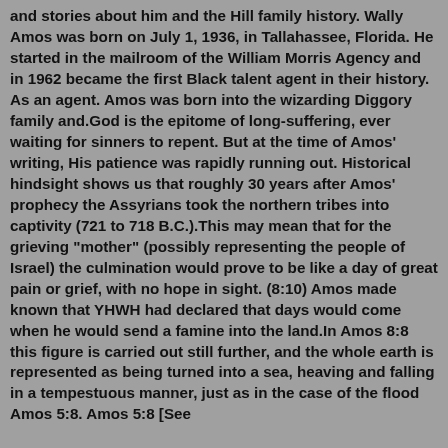and stories about him and the Hill family history. Wally Amos was born on July 1, 1936, in Tallahassee, Florida. He started in the mailroom of the William Morris Agency and in 1962 became the first Black talent agent in their history. As an agent. Amos was born into the wizarding Diggory family and.God is the epitome of long-suffering, ever waiting for sinners to repent. But at the time of Amos' writing, His patience was rapidly running out. Historical hindsight shows us that roughly 30 years after Amos' prophecy the Assyrians took the northern tribes into captivity (721 to 718 B.C.).This may mean that for the grieving "mother" (possibly representing the people of Israel) the culmination would prove to be like a day of great pain or grief, with no hope in sight. (8:10) Amos made known that YHWH had declared that days would come when he would send a famine into the land.In Amos 8:8 this figure is carried out still further, and the whole earth is represented as being turned into a sea, heaving and falling in a tempestuous manner, just as in the case of the flood Amos 5:8. Amos 5:8 [See...